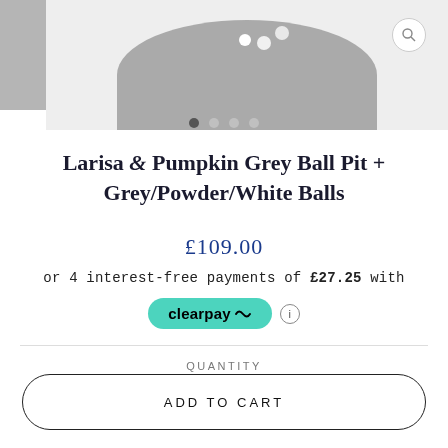[Figure (photo): Product photo area showing a grey ball pit partially visible at top, with a search icon circle in upper right, and a side thumbnail on the left edge. Four navigation dots below the image.]
Larisa & Pumpkin Grey Ball Pit + Grey/Powder/White Balls
£109.00
or 4 interest-free payments of £27.25 with
clearpay
QUANTITY
1
ADD TO CART